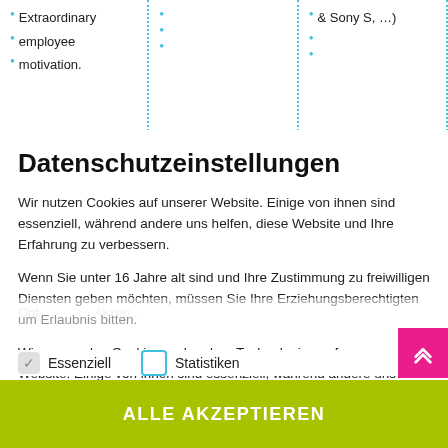Extraordinary employee motivation.
Datenschutzeinstellungen
Wir nutzen Cookies auf unserer Website. Einige von ihnen sind essenziell, während andere uns helfen, diese Website und Ihre Erfahrung zu verbessern.
Wenn Sie unter 16 Jahre alt sind und Ihre Zustimmung zu freiwilligen Diensten geben möchten, müssen Sie Ihre Erziehungsberechtigten um Erlaubnis bitten.
Wir verwenden Cookies und andere Technologien auf unserer Website. Einige von ihnen sind essenziell, während andere uns helfen, diese Website und Ihre Erfahrung zu verbessern. Personenbezogene Daten können verarbeitet werden (z. B.
✓ Essenziell     □ Statistiken
ALLE AKZEPTIEREN